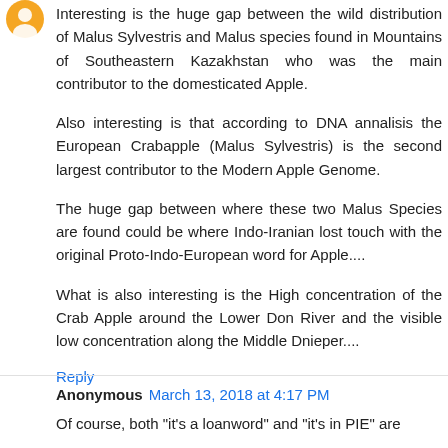[Figure (illustration): Orange circular avatar icon with a white silhouette]
Interesting is the huge gap between the wild distribution of Malus Sylvestris and Malus species found in Mountains of Southeastern Kazakhstan who was the main contributor to the domesticated Apple.
Also interesting is that according to DNA annalisis the European Crabapple (Malus Sylvestris) is the second largest contributor to the Modern Apple Genome.
The huge gap between where these two Malus Species are found could be where Indo-Iranian lost touch with the original Proto-Indo-European word for Apple....
What is also interesting is the High concentration of the Crab Apple around the Lower Don River and the visible low concentration along the Middle Dnieper....
Reply
Anonymous March 13, 2018 at 4:17 PM
Of course, both "it's a loanword" and "it's in PIE" are compatible; it could be a loanword into PIE, then spread through